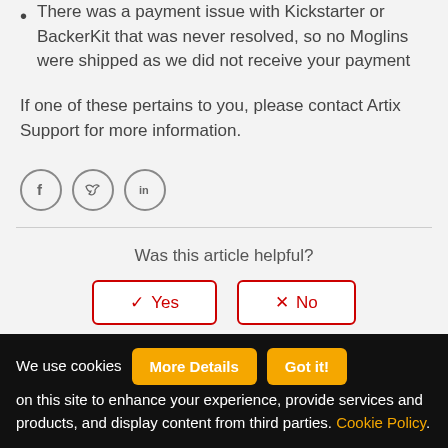There was a payment issue with Kickstarter or BackerKit that was never resolved, so no Moglins were shipped as we did not receive your payment
If one of these pertains to you, please contact Artix Support for more information.
[Figure (other): Three social media icons (Facebook, Twitter, LinkedIn) in circle outlines]
Was this article helpful?
✓ Yes   ✗ No
We use cookies on this site to enhance your experience, provide services and products, and display content from third parties. Cookie Policy.